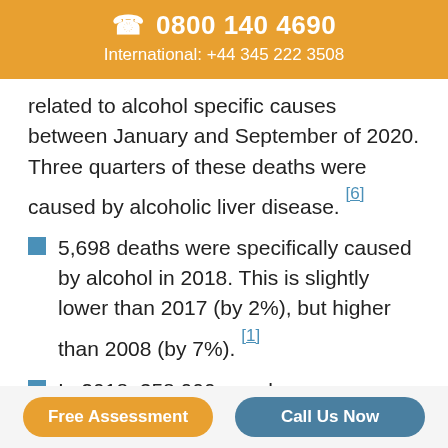☎ 0800 140 4690
International: +44 345 222 3508
related to alcohol specific causes between January and September of 2020. Three quarters of these deaths were caused by alcoholic liver disease. [6]
5,698 deaths were specifically caused by alcohol in 2018. This is slightly lower than 2017 (by 2%), but higher than 2008 (by 7%). [1]
In 2018, 358,000 people were admitted to hospital due to health problems that were
Free Assessment    Call Us Now